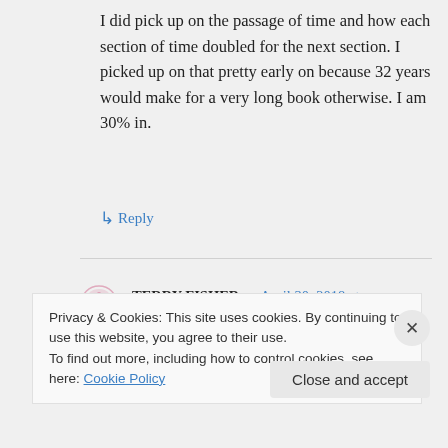I did pick up on the passage of time and how each section of time doubled for the next section. I picked up on that pretty early on because 32 years would make for a very long book otherwise. I am 30% in.
↳ Reply
TERRY FISHER on April 30, 2018 at 2:09 pm
Privacy & Cookies: This site uses cookies. By continuing to use this website, you agree to their use.
To find out more, including how to control cookies, see here: Cookie Policy
Close and accept